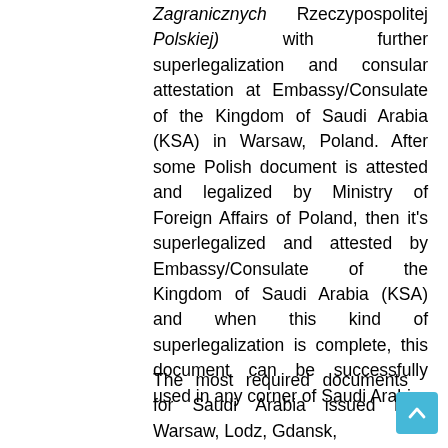Zagranicznych Rzeczypospolitej Polskiej) with further superlegalization and consular attestation at Embassy/Consulate of the Kingdom of Saudi Arabia (KSA) in Warsaw, Poland. After some Polish document is attested and legalized by Ministry of Foreign Affairs of Poland, then it's superlegalized and attested by Embassy/Consulate of the Kingdom of Saudi Arabia (KSA) and when this kind of superlegalization is complete, this document can be successfully used in any corner of Saudi Arabia.
The most required documents for Saudi Arabia issued in Warsaw, Lodz, Gdansk,